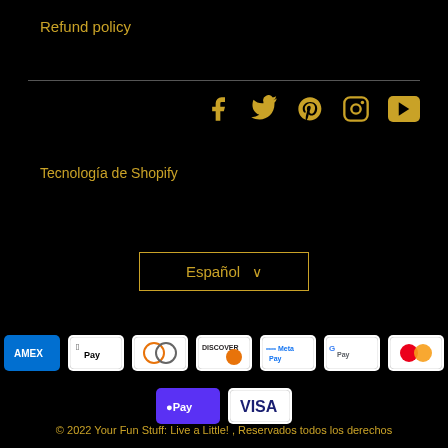Refund policy
[Figure (other): Social media icons: Facebook, Twitter, Pinterest, Instagram, YouTube in gold color]
Tecnología de Shopify
Español ∨ (language selector dropdown)
[Figure (other): Payment method icons: AMEX, Apple Pay, Diners Club, Discover, Meta Pay, Google Pay, Mastercard, DPay, VISA]
© 2022 Your Fun Stuff: Live a Little! , Reservados todos los derechos